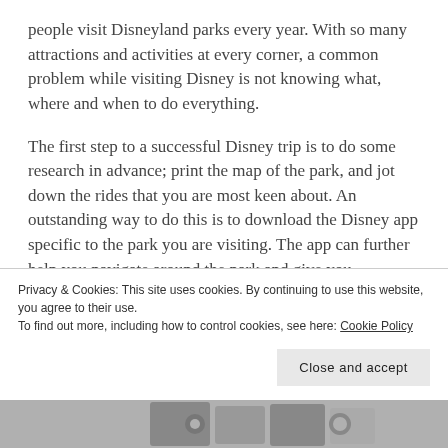people visit Disneyland parks every year. With so many attractions and activities at every corner, a common problem while visiting Disney is not knowing what, where and when to do everything.
The first step to a successful Disney trip is to do some research in advance; print the map of the park, and jot down the rides that you are most keen about. An outstanding way to do this is to download the Disney app specific to the park you are visiting. The app can further help you navigate around the park and give you information on the waiting times of each ride. Disney apps also have details on unique events
Privacy & Cookies: This site uses cookies. By continuing to use this website, you agree to their use.
To find out more, including how to control cookies, see here: Cookie Policy
Close and accept
[Figure (photo): Bottom strip showing partial photo images related to Disneyland]